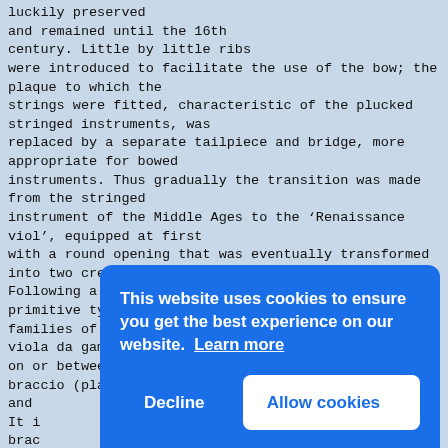luckily preserved
and remained until the 16th
century. Little by little ribs
were introduced to facilitate the use of the bow; the
plaque to which the
strings were fitted, characteristic of the plucked
stringed instruments, was
replaced by a separate tailpiece and bridge, more
appropriate for bowed
instruments. Thus gradually the transition was made
from the stringed
instrument of the Middle Ages to the 'Renaissance
viol', equipped at first
with a round opening that was eventually transformed
into two crescentshaped sound holes.
Following a series of combinations of the two
primitive types, three other
families of instruments appeared before 1500: the
viola da gamba (viol held
on or between the player's knees), the lira da
braccio (played with a bow)
and
It i
brac
agai
Thus
took
the
is t
or l
are
determine, each of its parts, therefore, has its own
history. An instrument
[Figure (screenshot): Cookie consent banner overlay with blue background. Text reads: 'This website uses cookies to ensure you get the best experience on our website. Learn more' with a 'Decline' button and an 'Allow cookies' button.]